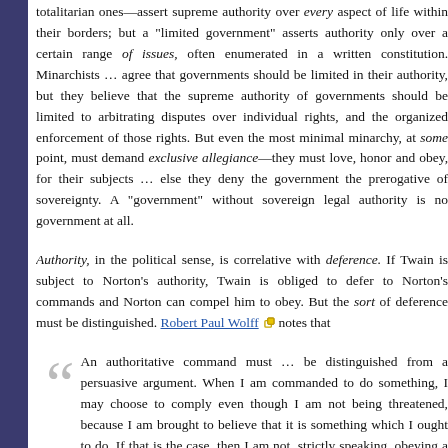totalitarian ones—assert supreme authority over every aspect of life within their borders; but a "limited government" asserts authority only over a certain range of issues, often enumerated in a written constitution. Minarchists … agree that governments should be limited in their authority, but they believe that the supreme authority of governments should be limited to arbitrating disputes over individual rights, and the organized enforcement of those rights. But even the most minimal minarchy, at some point, must demand exclusive allegiance—they must love, honor and obey, for their subjects … else they deny the government the prerogative of sovereignty. A "government" without sovereign legal authority is no government at all.
Authority, in the political sense, is correlative with deference. If Twain is subject to Norton's authority, Twain is obliged to defer to Norton's commands and Norton can compel him to obey. But the sort of deference must be distinguished. Robert Paul Wolff notes that
An authoritative command must … be distinguished from a persuasive argument. When I am commanded to do something, I may choose to comply even though I am not being threatened, because I am brought to believe that it is something which I ought to do. If that is the case, then I am not, strictly speaking, obeying a command, but rather acknowledging the moral rightness of a prescription. … But the person himself [sic] has authority, or, to be more precise, my complying with his command does not